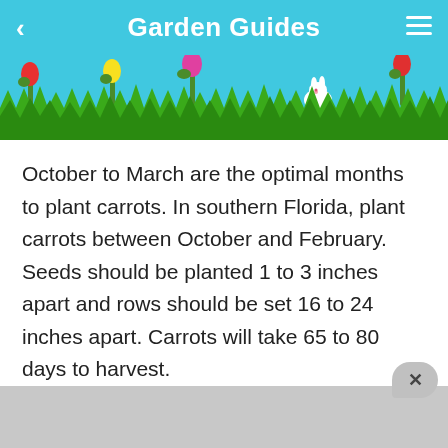Garden Guides
[Figure (illustration): Decorative header with sky blue background, colorful tulip flowers (red, yellow, pink), green grass silhouette strip, and a small white rabbit illustration]
October to March are the optimal months to plant carrots. In southern Florida, plant carrots between October and February. Seeds should be planted 1 to 3 inches apart and rows should be set 16 to 24 inches apart. Carrots will take 65 to 80 days to harvest.